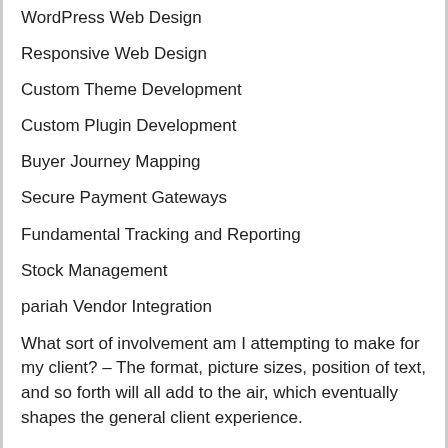WordPress Web Design
Responsive Web Design
Custom Theme Development
Custom Plugin Development
Buyer Journey Mapping
Secure Payment Gateways
Fundamental Tracking and Reporting
Stock Management
pariah Vendor Integration
What sort of involvement am I attempting to make for my client? – The format, picture sizes, position of text, and so forth will all add to the air, which eventually shapes the general client experience.